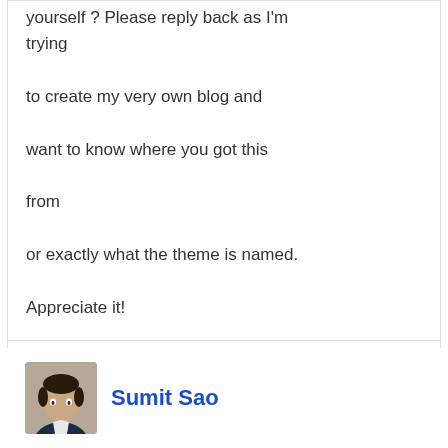yourself ? Please reply back as I'm trying to create my very own blog and want to know where you got this from or exactly what the theme is named. Appreciate it!
Reply
Sumit Sao